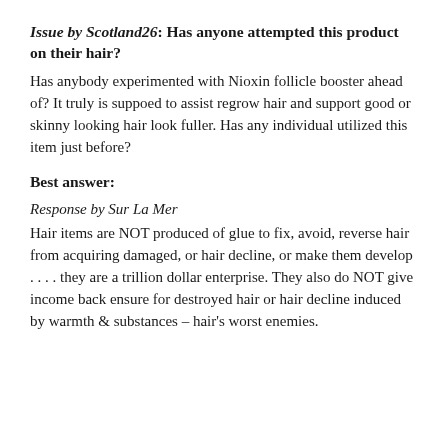Issue by Scotland26: Has anyone attempted this product on their hair?
Has anybody experimented with Nioxin follicle booster ahead of? It truly is suppoed to assist regrow hair and support good or skinny looking hair look fuller. Has any individual utilized this item just before?
Best answer:
Response by Sur La Mer
Hair items are NOT produced of glue to fix, avoid, reverse hair from acquiring damaged, or hair decline, or make them develop . . . . they are a trillion dollar enterprise. They also do NOT give income back ensure for destroyed hair or hair decline induced by warmth & substances – hair's worst enemies.